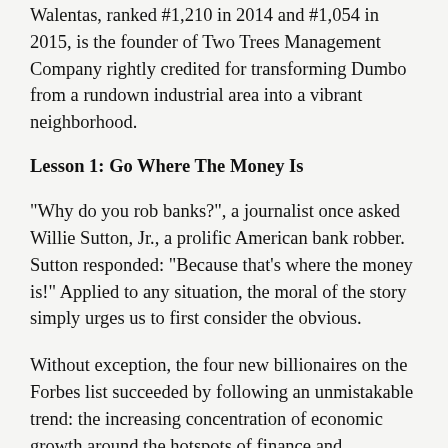Walentas, ranked #1,210 in 2014 and #1,054 in 2015, is the founder of Two Trees Management Company rightly credited for transforming Dumbo from a rundown industrial area into a vibrant neighborhood.
Lesson 1: Go Where The Money Is
"Why do you rob banks?", a journalist once asked Willie Sutton, Jr., a prolific American bank robber. Sutton responded: "Because that's where the money is!" Applied to any situation, the moral of the story simply urges us to first consider the obvious.
Without exception, the four new billionaires on the Forbes list succeeded by following an unmistakable trend: the increasing concentration of economic growth around the hotspots of finance and innovation. Even with their intelligence and entrepreneurial gumption, they couldn't possibly